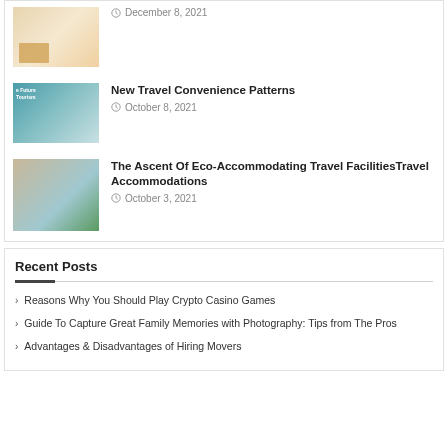[Figure (photo): Thumbnail of cardboard boxes]
December 8, 2021
[Figure (photo): Thumbnail of a glass orb reflecting a tree, with text 'The Future of Tourism']
New Travel Convenience Patterns
October 8, 2021
[Figure (photo): Thumbnail composite: person on beach with tablet, tropical mountains]
The Ascent Of Eco-Accommodating Travel FacilitiesTravel Accommodations
October 3, 2021
Recent Posts
Reasons Why You Should Play Crypto Casino Games
Guide To Capture Great Family Memories with Photography: Tips from The Pros
Advantages & Disadvantages of Hiring Movers